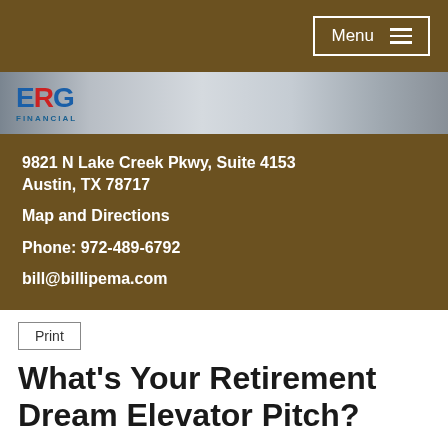Menu
[Figure (logo): ERG Financial logo on grey gradient strip]
9821 N Lake Creek Pkwy, Suite 4153
Austin, TX 78717
Map and Directions
Phone: 972-489-6792
bill@billipema.com
Print
What's Your Retirement Dream Elevator Pitch?
Imagine stepping into an elevator and realizing that you're about to spend the 30 second ride with